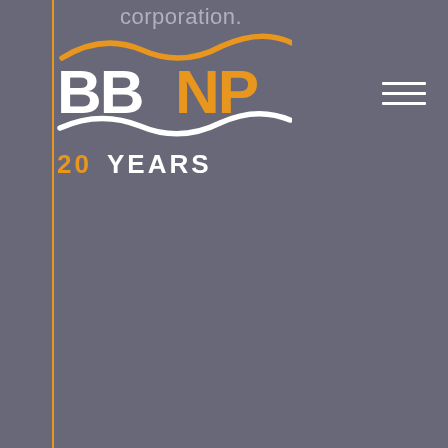corporation.
[Figure (logo): BBNP 20 YEARS logo with orange and white wave marks and orange vertical left border line]
[Figure (other): Hamburger menu icon (three white horizontal lines) in upper right corner]